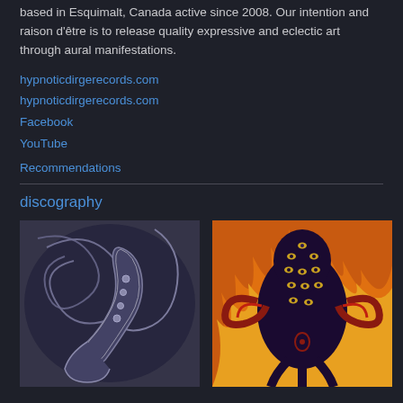based in Esquimalt, Canada active since 2008. Our intention and raison d'être is to release quality expressive and eclectic art through aural manifestations.
hypnoticdirgerecords.com
hypnoticdirgerecords.com
Facebook
YouTube
Recommendations
discography
[Figure (photo): Black and white abstract illustration featuring saxophone or musical instrument with organic swirling background patterns]
[Figure (photo): Colorful illustration of a dark figure with many eyes on its body, surrounded by orange and yellow flame-like patterns]